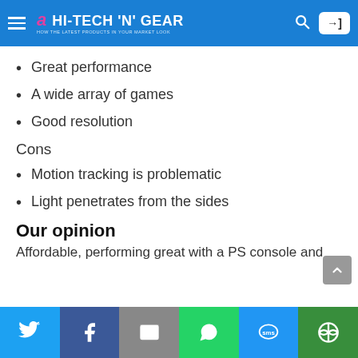HI-TECH 'N' GEAR
Great performance
A wide array of games
Good resolution
Cons
Motion tracking is problematic
Light penetrates from the sides
Our opinion
Affordable, performing great with a PS console and